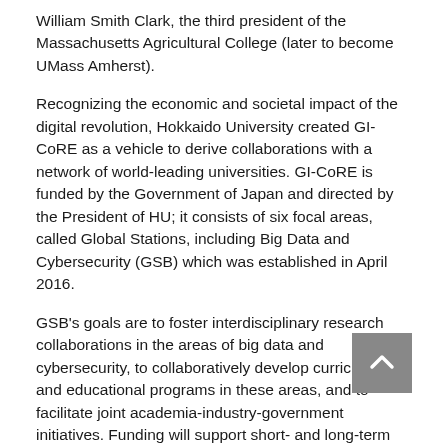William Smith Clark, the third president of the Massachusetts Agricultural College (later to become UMass Amherst).
Recognizing the economic and societal impact of the digital revolution, Hokkaido University created GI-CoRE as a vehicle to derive collaborations with a network of world-leading universities. GI-CoRE is funded by the Government of Japan and directed by the President of HU; it consists of six focal areas, called Global Stations, including Big Data and Cybersecurity (GSB) which was established in April 2016.
GSB's goals are to foster interdisciplinary research collaborations in the areas of big data and cybersecurity, to collaboratively develop curriculum and educational programs in these areas, and to facilitate joint academia-industry-government initiatives. Funding will support short- and long-term visits by computer science faculty and the hiring of graduate students and postdocs at HU to support these collaborations.
"We have a valued relationship with HU and look forward to expanding our partnerships with its world-class faculty," said